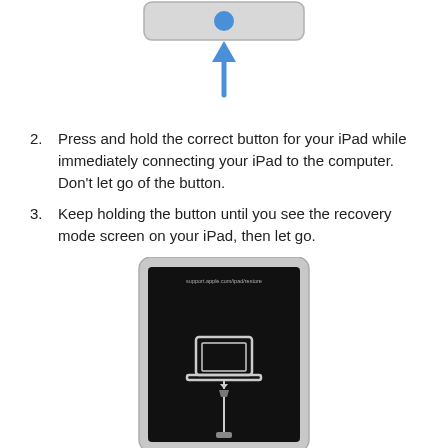[Figure (illustration): iPad device shown from bottom edge with a blue home button and a blue upward arrow pointing toward it, indicating the button to press.]
2. Press and hold the correct button for your iPad while immediately connecting your iPad to the computer. Don't let go of the button.
3. Keep holding the button until you see the recovery mode screen on your iPad, then let go.
[Figure (illustration): iPad in recovery mode showing a black screen with a laptop icon and a cable icon, indicating recovery mode, with the URL support.apple.com/ipad/restore shown at top.]